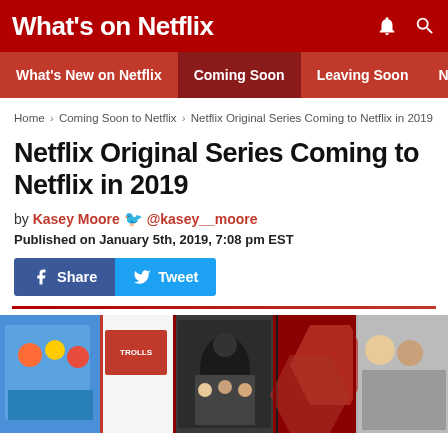What's on Netflix
What's New on Netflix | Coming Soon | Leaving Soon | Netflix Ne
Home › Coming Soon to Netflix › Netflix Original Series Coming to Netflix in 2019
Netflix Original Series Coming to Netflix in 2019
by Kasey Moore 🐦 @kasey__moore
Published on January 5th, 2019, 7:08 pm EST
[Figure (screenshot): Facebook Share and Twitter Tweet buttons]
[Figure (photo): Mosaic hero image showing various Netflix original series thumbnails including animated shows, action series, and drama series against a red hexagonal pattern background]